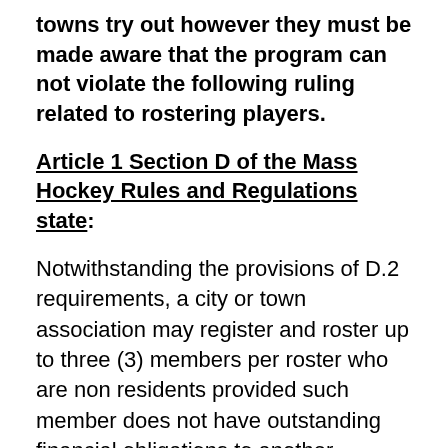towns try out however they must be made aware that the program can not violate the following ruling related to rostering players.
Article 1 Section D of the Mass Hockey Rules and Regulations state:
Notwithstanding the provisions of D.2 requirements, a city or town association may register and roster up to three (3) members per roster who are non residents provided such member does not have outstanding financial obligations to another Massachusetts Hockey or USA Hockey affiliated association. Any player